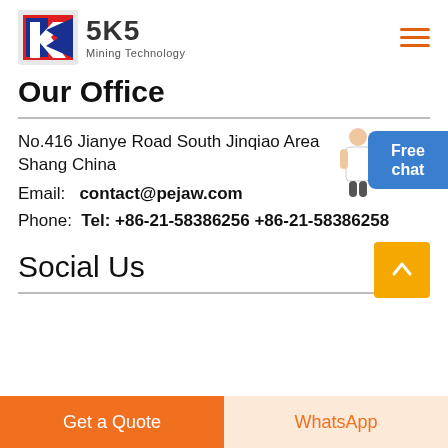SKS Mining Technology
Our Office
No.416 Jianye Road South Jinqiao Area Shang China
Email: contact@pejaw.com
Phone: Tel: +86-21-58386256 +86-21-58386258
Social Us
Get a Quote
WhatsApp